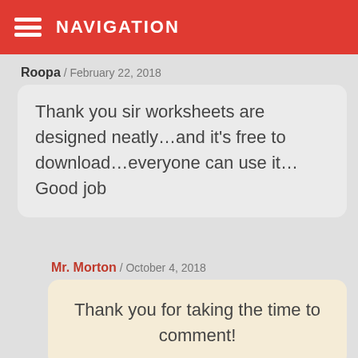NAVIGATION
Roopa / February 22, 2018
Thank you sir worksheets are designed neatly…and it's free to download…everyone can use it… Good job
Mr. Morton / October 4, 2018
Thank you for taking the time to comment!
Tracy / November 7, 2017